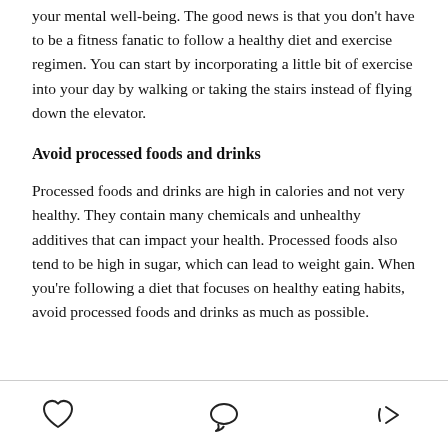your mental well-being. The good news is that you don't have to be a fitness fanatic to follow a healthy diet and exercise regimen. You can start by incorporating a little bit of exercise into your day by walking or taking the stairs instead of flying down the elevator.
Avoid processed foods and drinks
Processed foods and drinks are high in calories and not very healthy. They contain many chemicals and unhealthy additives that can impact your health. Processed foods also tend to be high in sugar, which can lead to weight gain. When you're following a diet that focuses on healthy eating habits, avoid processed foods and drinks as much as possible.
[heart icon] [comment icon] [share icon]